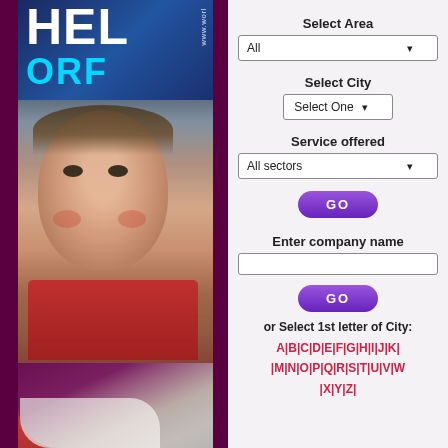[Figure (photo): Left panel showing a charity/NGO banner with 'HEL ORF' text and a photo of a young child, with page curl effect at bottom. Background is dark purple/maroon.]
Select Area
All
Select City
Select One
Service offered
All sectors
GO
Enter company name
GO
or Select 1st letter of City:
A|B|C|D|E|F|G|H|I|J|K| |M|N|O|P|Q|R|S|T|U|V|W |X|Y|Z|